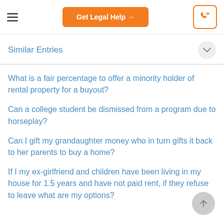Get Legal Help →
Similar Entries
What is a fair percentage to offer a minority holder of rental property for a buyout?
Can a college student be dismissed from a program due to horseplay?
Can I gift my grandaughter money who in turn gifts it back to her parents to buy a home?
If I my ex-girlfriend and children have been living in my house for 1.5 years and have not paid rent, if they refuse to leave what are my options?